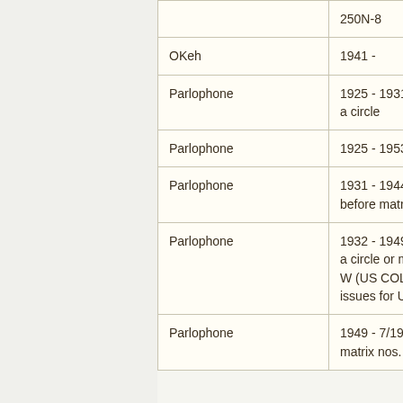| Label | Date / Notes | Reference |
| --- | --- | --- |
|  | 250N-8 |  |
| OKeh | 1941 - |  |
| Parlophone | 1925 - 1931, with W in a circle | [W.E.… |
| Parlophone | 1925 - 1953 | Europ… |
| Parlophone | 1931 - 1944, with © before matrix no., [Bc] | Blum… |
| Parlophone | 1932 - 1949, with W in a circle or matrix prefix W (US COL/OKeh re-issues for UK) | 500-R… |
| Parlophone | 1949 - 7/1953, EMI UK, matrix nos. | 500-R… |